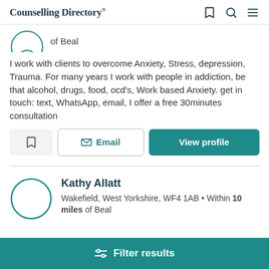Counselling Directory
of Beal
I work with clients to overcome Anxiety, Stress, depression, Trauma. For many years I work with people in addiction, be that alcohol, drugs, food, ocd's, Work based Anxiety. get in touch: text, WhatsApp, email, I offer a free 30minutes consultation
Email | View profile
Kathy Allatt
Wakefield, West Yorkshire, WF4 1AB • Within 10 miles of Beal
Filter results